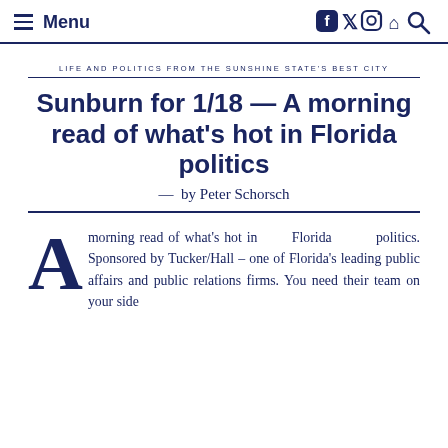Menu
LIFE AND POLITICS FROM THE SUNSHINE STATE'S BEST CITY
Sunburn for 1/18 — A morning read of what's hot in Florida politics
— by Peter Schorsch
A morning read of what's hot in Florida politics. Sponsored by Tucker/Hall – one of Florida's leading public affairs and public relations firms. You need their team on your side